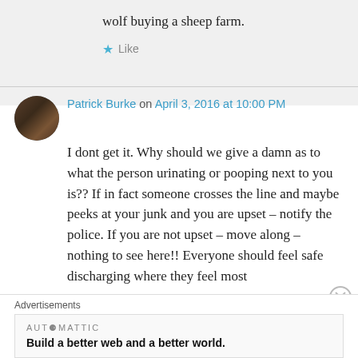wolf buying a sheep farm.
Like
Patrick Burke on April 3, 2016 at 10:00 PM
I dont get it. Why should we give a damn as to what the person urinating or pooping next to you is?? If in fact someone crosses the line and maybe peeks at your junk and you are upset – notify the police. If you are not upset – move along – nothing to see here!! Everyone should feel safe discharging where they feel most
Advertisements
AUTOMATTIC
Build a better web and a better world.